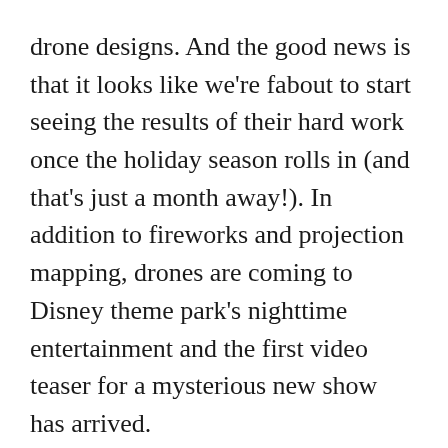drone designs. And the good news is that it looks like we're fabout to start seeing the results of their hard work once the holiday season rolls in (and that's just a month away!). In addition to fireworks and projection mapping, drones are coming to Disney theme park's nighttime entertainment and the first video teaser for a mysterious new show has arrived.
Previous patent filings have suggested that Disney is preparing all kinds of unmanned aerial vehicles for use in their parks, from drones equipped with their own projection